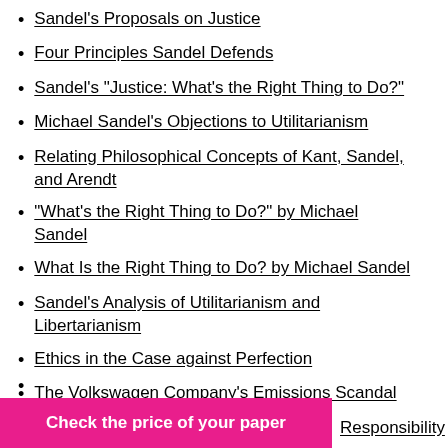Sandel's Proposals on Justice
Four Principles Sandel Defends
Sandel's "Justice: What's the Right Thing to Do?"
Michael Sandel's Objections to Utilitarianism
Relating Philosophical Concepts of Kant, Sandel, and Arendt
"What's the Right Thing to Do?" by Michael Sandel
What Is the Right Thing to Do? by Michael Sandel
Sandel's Analysis of Utilitarianism and Libertarianism
Ethics in the Case against Perfection
The Volkswagen Company's Emissions Scandal
Ethics Program Implementation
...Responsibility
Check the price of your paper